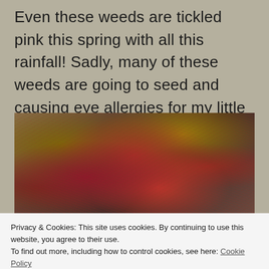Even these weeds are tickled pink this spring with all this rainfall! Sadly, many of these weeds are going to seed and causing eye allergies for my little dog Aero.
[Figure (photo): Close-up photo of weeds with red/pink stems and small reddish flowers against a dry grassy background.]
Privacy & Cookies: This site uses cookies. By continuing to use this website, you agree to their use.
To find out more, including how to control cookies, see here: Cookie Policy
Close and accept
[Figure (photo): Partial photo of more red/pink weeds at the bottom of the page, partially obscured by the cookie banner.]